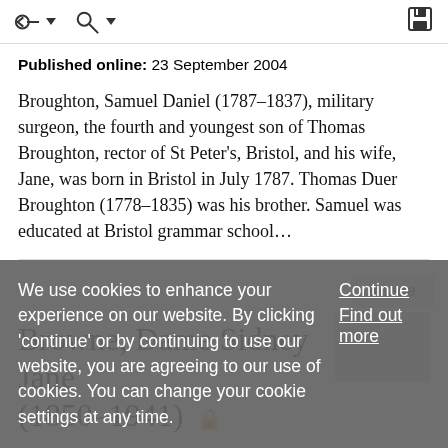toolbar with navigation and save icons
Published online: 23 September 2004
Broughton, Samuel Daniel (1787–1837), military surgeon, the fourth and youngest son of Thomas Broughton, rector of St Peter's, Bristol, and his wife, Jane, was born in Bristol in July 1787. Thomas Duer Broughton (1778–1835) was his brother. Samuel was educated at Bristol grammar school…
Browne, Dame Sidney Jane (1850–1941)
We use cookies to enhance your experience on our website. By clicking 'continue' or by continuing to use our website, you are agreeing to our use of cookies. You can change your cookie settings at any time.
Continue
Find out more